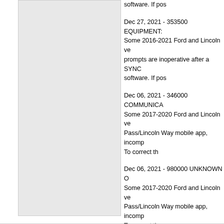software. If pos
Dec 27, 2021 - 353500 EQUIPMENT: Some 2016-2021 Ford and Lincoln ve prompts are inoperative after a SYNC software. If pos
Dec 06, 2021 - 346000 COMMUNICA Some 2017-2020 Ford and Lincoln ve Pass/Lincoln Way mobile app, incomp To correct th
Dec 06, 2021 - 980000 UNKNOWN O Some 2017-2020 Ford and Lincoln ve Pass/Lincoln Way mobile app, incomp To correct th
Sep 30, 2021 - 060000 ENGINE AND Some 2014-2019 Fusion vehicles buil Apr-2019 equipped with a 1.5L EcoBo condition w
View all Technical Service Bulletins
View All FORD ESCAPE RECA
View All 2017 FORD ESCAPE